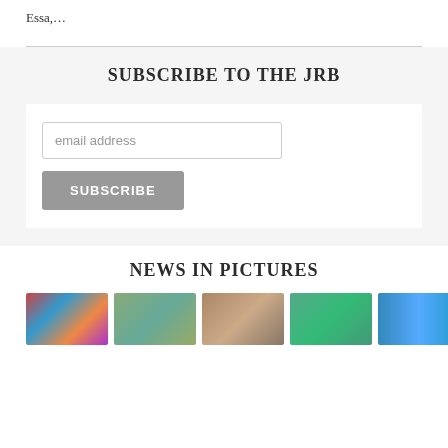Essa,…
SUBSCRIBE TO THE JRB
email address
SUBSCRIBE
NEWS IN PICTURES
[Figure (photo): News in pictures thumbnail images row]
[Figure (photo): News in pictures thumbnail 2]
[Figure (photo): News in pictures thumbnail 3]
[Figure (photo): News in pictures thumbnail 4]
[Figure (photo): News in pictures thumbnail 5]